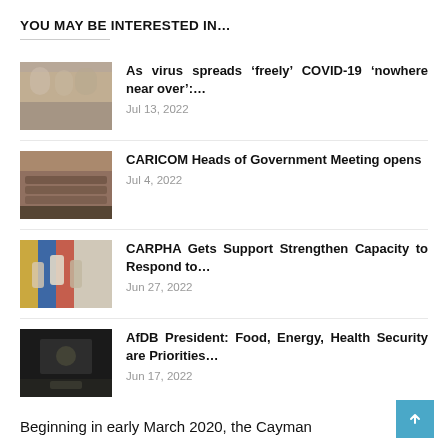YOU MAY BE INTERESTED IN…
As virus spreads ‘freely’ COVID-19 ‘nowhere near over’:…
Jul 13, 2022
CARICOM Heads of Government Meeting opens
Jul 4, 2022
CARPHA Gets Support Strengthen Capacity to Respond to…
Jun 27, 2022
AfDB President: Food, Energy, Health Security are Priorities…
Jun 17, 2022
Beginning in early March 2020, the Cayman